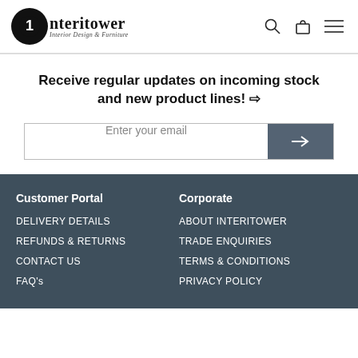[Figure (logo): Interitower Interior Design & Furniture logo with circular black icon and text]
Receive regular updates on incoming stock and new product lines! ⇨
Enter your email
Customer Portal
Corporate
DELIVERY DETAILS
REFUNDS & RETURNS
CONTACT US
FAQ's
ABOUT INTERITOWER
TRADE ENQUIRIES
TERMS & CONDITIONS
PRIVACY POLICY